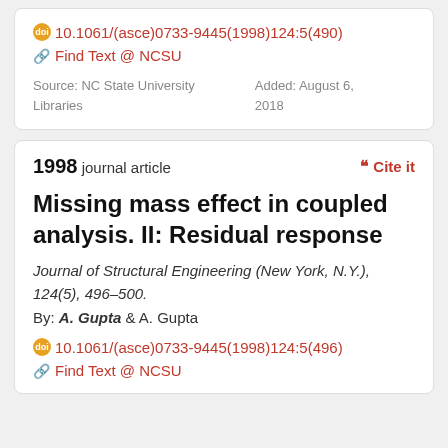10.1061/(asce)0733-9445(1998)124:5(490)
Find Text @ NCSU
Source: NC State University Libraries
Added: August 6, 2018
1998 journal article
Cite it
Missing mass effect in coupled analysis. II: Residual response
Journal of Structural Engineering (New York, N.Y.), 124(5), 496–500.
By: A. Gupta & A. Gupta
10.1061/(asce)0733-9445(1998)124:5(496)
Find Text @ NCSU